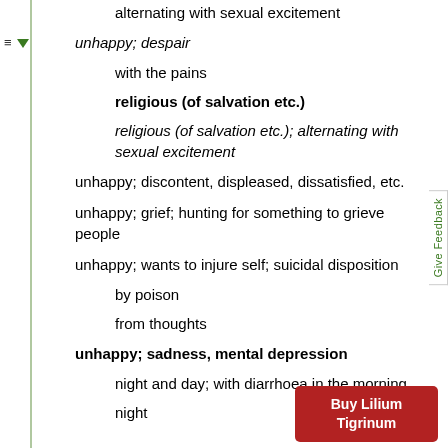alternating with sexual excitement
unhappy; despair
with the pains
religious (of salvation etc.)
religious (of salvation etc.); alternating with sexual excitement
unhappy; discontent, displeased, dissatisfied, etc.
unhappy; grief; hunting for something to grieve people
unhappy; wants to injure self; suicidal disposition
by poison
from thoughts
unhappy; sadness, mental depression
night and day; with diarrhoea in the morning
night